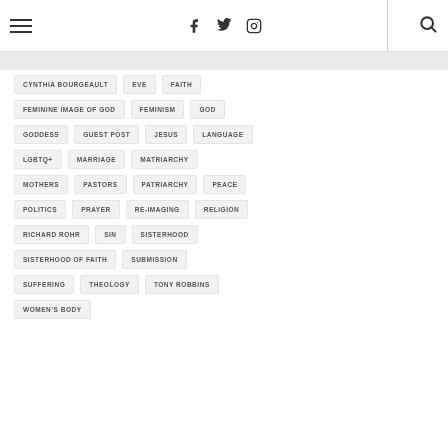Navigation header with hamburger menu, social icons (Facebook, Twitter, Instagram), and search
CYNTHIA BOURGEAULT
EVE
FAITH
FEMININE IMAGE OF GOD
FEMINISM
GOD
GODDESS
GUEST POST
JESUS
LANGUAGE
LGBTQ+
MARRIAGE
MATRIARCHY
MOTHERS
PASTORS
PATRIARCHY
PEACE
POLITICS
PRAYER
RE-IMAGING
RELIGION
RICHARD ROHR
SIN
SISTERHOOD
SISTERHOOD OF FAITH
SUBMISSION
SUFFERING
THEOLOGY
TONY ROBBINS
WOMEN’S BODY